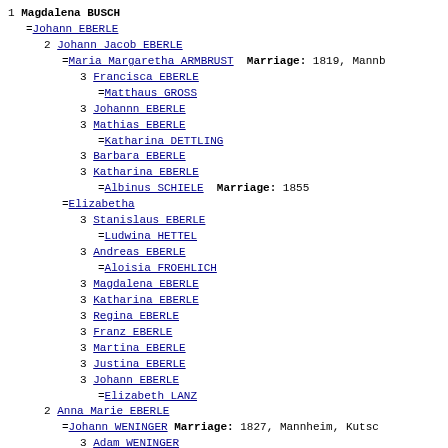1 Magdalena BUSCH
=Johann EBERLE
2 Johann Jacob EBERLE
=Maria Margaretha ARMBRUST  Marriage: 1819, Mannheim
3 Francisca EBERLE
=Matthaus GROSS
3 Johannn EBERLE
3 Mathias EBERLE
=Katharina DETTLING
3 Barbara EBERLE
3 Katharina EBERLE
=Albinus SCHIELE  Marriage: 1855
=Elizabetha
3 Stanislaus EBERLE
=Ludwina HETTEL
3 Andreas EBERLE
=Aloisia FROEHLICH
3 Magdalena EBERLE
3 Katharina EBERLE
3 Regina EBERLE
3 Franz EBERLE
3 Martina EBERLE
3 Justina EBERLE
3 Johann EBERLE
=Elizabeth LANZ
2 Anna Marie EBERLE
=Johann WENINGER  Marriage: 1827, Mannheim, Kutsc...
3 Adam WENINGER
2 Barbara EBERLE